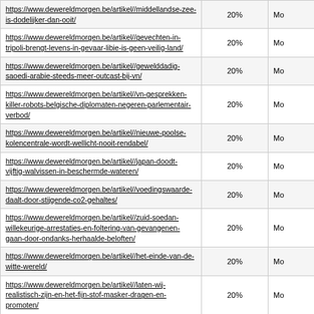| URL | Percentage | Mo... |
| --- | --- | --- |
| https://www.dewereldmorgen.be/artikel//middellandse-zee-is-dodelijker-dan-ooit/ | 20% | Mo |
| https://www.dewereldmorgen.be/artikel//gevechten-in-tripoli-brengt-levens-in-gevaar-libie-is-geen-veilig-land/ | 20% | Mo |
| https://www.dewereldmorgen.be/artikel//gewelddadig-saoedi-arabie-steeds-meer-outcast-bij-vn/ | 20% | Mo |
| https://www.dewereldmorgen.be/artikel//vn-gesprekken-killer-robots-belgische-diplomaten-negeren-parlementair-verbod/ | 20% | Mo |
| https://www.dewereldmorgen.be/artikel//nieuwe-poolse-kolencentrale-wordt-wellicht-nooit-rendabel/ | 20% | Mo |
| https://www.dewereldmorgen.be/artikel//japan-doodt-vijftig-walvissen-in-beschermde-wateren/ | 20% | Mo |
| https://www.dewereldmorgen.be/artikel//voedingswaarde-daalt-door-stijgende-co2-gehaltes/ | 20% | Mo |
| https://www.dewereldmorgen.be/artikel//zuid-soedan-willekeurige-arrestaties-en-foltering-van-gevangenen-gaan-door-ondanks-herhaalde-beloften/ | 20% | Mo |
| https://www.dewereldmorgen.be/artikel//het-einde-van-de-witte-wereld/ | 20% | Mo |
| https://www.dewereldmorgen.be/artikel//laten-wij-realistisch-zijn-en-het-fijn-stof-masker-dragen-en-promoten/ | 20% | Mo |
| https://www.dewereldmorgen.be/artikel//manifiesta-2018-onze-tips/ | 20% | Mo |
| https://www.dewereldmorgen.be/artikel//thomas-schraepen-arthritis-psoriatica-vervelende-pijn-of-pijnlijk-vervellen/ | 20% | Mo |